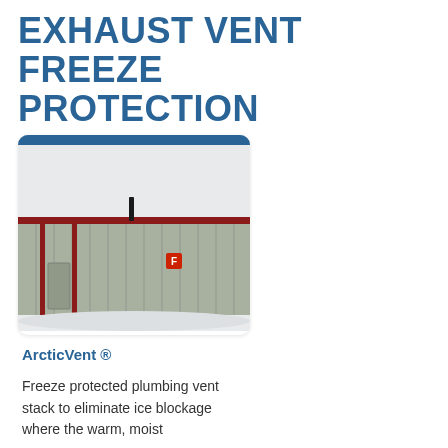EXHAUST VENT FREEZE PROTECTION
[Figure (photo): Exterior photo of a metal industrial building with vertical siding in green/grey and red trim, in snowy winter conditions. A small exhaust vent stack is visible on the roofline. A red letter 'F' marker is on the wall.]
ArcticVent ®
Freeze protected plumbing vent stack to eliminate ice blockage where the warm, moist